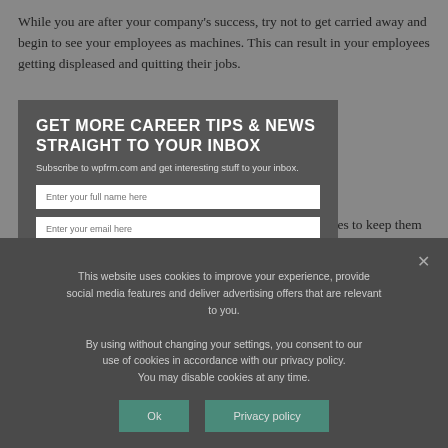While you are after your company's success, try not to get carried away and begin to see your employees as machines. This can result in your employees getting displeased and quitting their jobs.
Consider providing your employees with medical allowances to keep them happy, healthy, and motivated. Your employees' mental health can affect your company's overall success.
[Figure (screenshot): Newsletter subscription popup with fields for full name, email, address, city, state, zip, and a green Subscribe button. Title reads 'GET MORE CAREER TIPS & NEWS STRAIGHT TO YOUR INBOX'. Subtitle: 'Subscribe to wpfrm.com and get interesting stuff to your inbox.']
[Figure (screenshot): Cookie consent bar at the bottom. Text: 'This website uses cookies to improve your experience, provide social media features and deliver advertising offers that are relevant to you. By using without changing your settings, you consent to our use of cookies in accordance with our privacy policy. You may disable cookies at any time.' Two buttons: Ok and Privacy policy.]